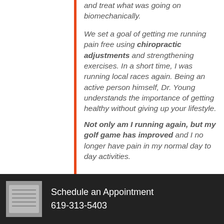and treat what was going on biomechanically. We set a goal of getting me running pain free using chiropractic adjustments and strengthening exercises. In a short time, I was running local races again. Being an active person himself, Dr. Young understands the importance of getting healthy without giving up your lifestyle. Not only am I running again, but my golf game has improved and I no longer have pain in my normal day to day activities.
Schedule an Appointment
619-313-5403